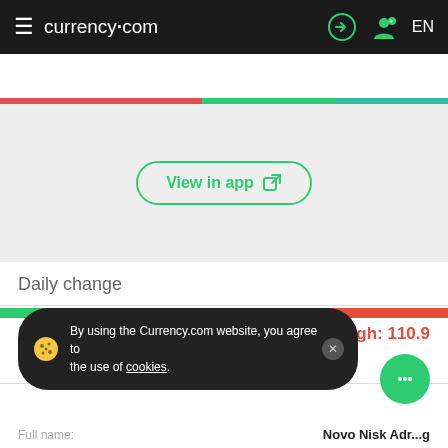currency.com
Currency Com US LLC
[Figure (screenshot): Chart area showing a financial chart with a 'View in app' button and a color strip at the top in red, green, and teal]
Daily change
[Figure (bar-chart): Daily change price bar]
Low: 108.96
High: 110.9
Market info
By using the Currency.com website, you agree to the use of cookies.
Full name:
Novo Nisk Adr...g